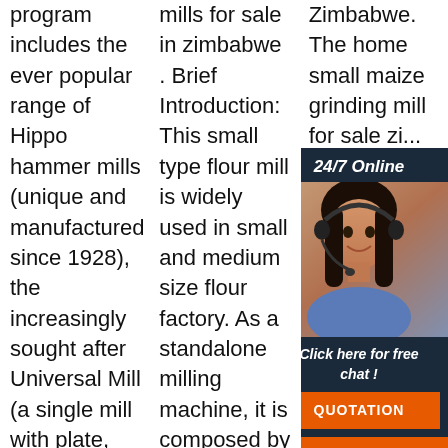program includes the ever popular range of Hippo hammer mills (unique and manufactured since 1928), the increasingly sought after Universal Mill (a single mill with plate, stone, hammer and pin mill attachments),
mills for sale in zimbabwe . Brief Introduction: This small type flour mill is widely used in small and medium size flour factory. As a standalone milling machine, it is composed by a feeding hopper, double roll grinding mill,
Zimbabwe. The home small maize grinding mill for sale zi... m si... m si... ra... ju... fe... hopper and then goes to milling.
[Figure (other): 24/7 Online chat widget with a woman wearing a headset, dark background, 'Click here for free chat!' text, and an orange QUOTATION button]